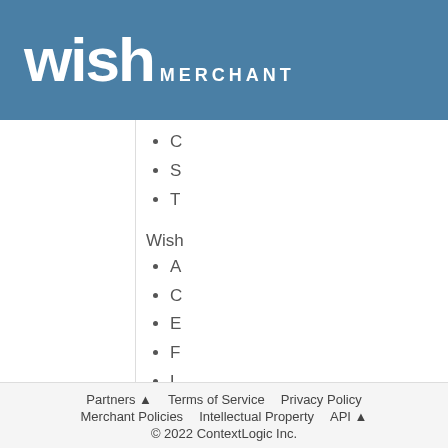wish MERCHANT
C
S
T
Wish
A
C
E
F
L
M
M
P
Q
S
Partners ▲   Terms of Service   Privacy Policy   Merchant Policies   Intellectual Property   API ▲   © 2022 ContextLogic Inc.